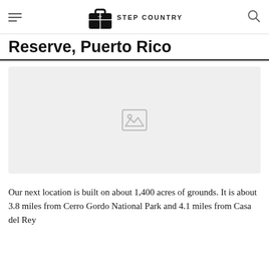STEP COUNTRY
Reserve, Puerto Rico
[Figure (photo): Broken/placeholder image area with a missing image icon on a light grey background]
Our next location is built on about 1,400 acres of grounds. It is about 3.8 miles from Cerro Gordo National Park and 4.1 miles from Casa del Rey